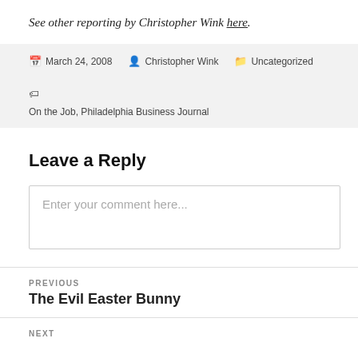See other reporting by Christopher Wink here.
March 24, 2008   Christopher Wink   Uncategorized   On the Job, Philadelphia Business Journal
Leave a Reply
Enter your comment here...
PREVIOUS
The Evil Easter Bunny
NEXT